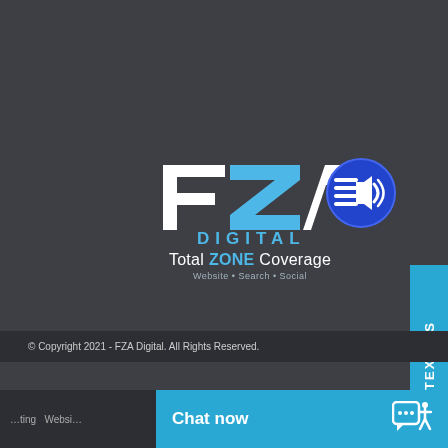[Figure (logo): FZA Digital logo with stylized F, Z, A letters in white and blue, with 'DIGITAL' text below in blue]
[Figure (illustration): Blue circular icon with horizontal lines and sound/broadcast waves symbol]
Total ZONE Coverage
Website • Search • Social
TEXT US
© Copyright 2021 - FZA Digital. All Rights Reserved.
Chat now